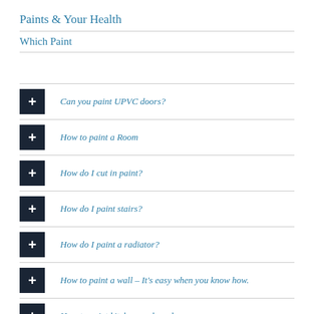Paints & Your Health
Which Paint
Can you paint UPVC doors?
How to paint a Room
How do I cut in paint?
How do I paint stairs?
How do I paint a radiator?
How to paint a wall – It's easy when you know how.
How to paint kitchen cupboards